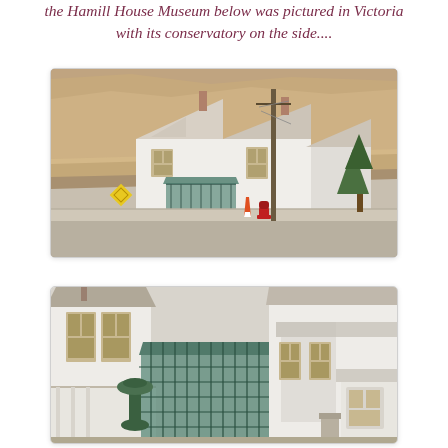the Hamill House Museum below was pictured in Victoria with its conservatory on the side....
[Figure (photo): Exterior photograph of the Hamill House Museum, a white Victorian-era house with multiple gabled roofs, viewed from street level with a rocky hillside in the background. A utility pole, traffic cone, fire hydrant, and yellow warning sign are visible in front.]
[Figure (photo): Close-up photograph of the Hamill House Museum showing the conservatory (greenhouse with green metal framework and glass roof) on the side of the white Victorian house, with a bay window visible and decorative Victorian porch details.]